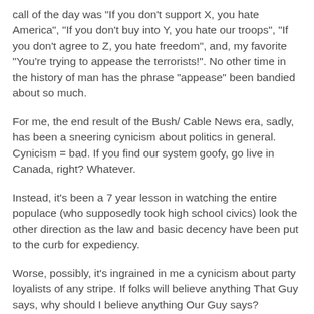call of the day was "If you don't support X, you hate America", "If you don't buy into Y, you hate our troops", "If you don't agree to Z, you hate freedom", and, my favorite "You're trying to appease the terrorists!". No other time in the history of man has the phrase "appease" been bandied about so much.
For me, the end result of the Bush/ Cable News era, sadly, has been a sneering cynicism about politics in general. Cynicism = bad. If you find our system goofy, go live in Canada, right? Whatever.
Instead, it's been a 7 year lesson in watching the entire populace (who supposedly took high school civics) look the other direction as the law and basic decency have been put to the curb for expediency.
Worse, possibly, it's ingrained in me a cynicism about party loyalists of any stripe. If folks will believe anything That Guy says, why should I believe anything Our Guy says?
It's sort of left me with the impression that we are not so far